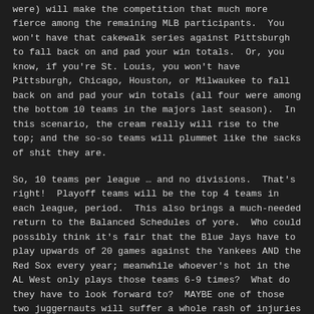were) will make the competition that much more fierce among the remaining MLB participants.  You won't have that cakewalk series against Pittsburgh to fall back on and pad your win totals.  Or, you know, if you're St. Louis, you won't have Pittsburgh, Chicago, Houston, or Milwaukee to fall back on and pad your win totals (all four were among the bottom 10 teams in the majors last season).  In this scenario, the cream really will rise to the top; and the so-so teams will plummet like the sacks of shit they are.
So, 10 teams per league … and no divisions.  That's right!  Playoff teams will be the top 4 teams in each league, period.  This also brings a much-needed return to the Balanced Schedules of yore.  Who could possibly think it's fair that the Blue Jays have to play upwards of 20 games against the Yankees AND the Red Sox every year; meanwhile whoever's hot in the AL West only plays those teams 6-9 times?  What do they have to look forward to?  MAYBE one of those two juggernauts will suffer a whole rash of injuries (in other words, so they have ONE down year out of ten).